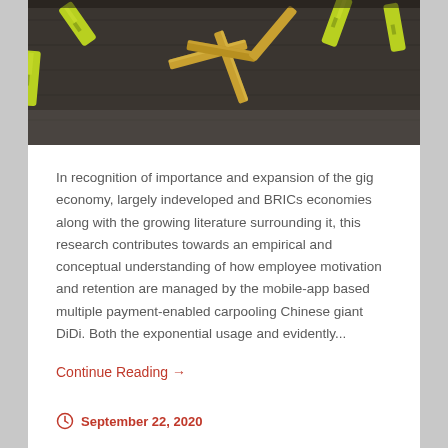[Figure (photo): Photograph of green and yellow clothespins and wooden sticks arranged on a dark wooden surface, viewed from above.]
In recognition of importance and expansion of the gig economy, largely indeveloped and BRICs economies along with the growing literature surrounding it, this research contributes towards an empirical and conceptual understanding of how employee motivation and retention are managed by the mobile-app based multiple payment-enabled carpooling Chinese giant DiDi. Both the exponential usage and evidently...
Continue Reading →
September 22, 2020